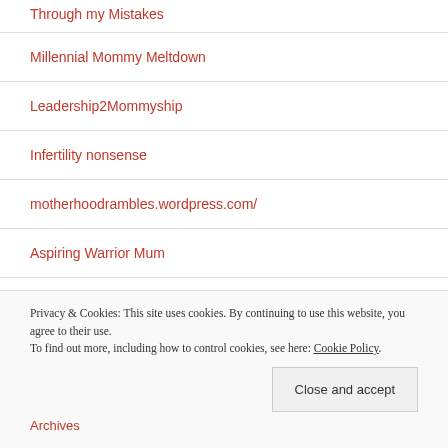Through My Mistakes
Millennial Mommy Meltdown
Leadership2Mommyship
Infertility nonsense
motherhoodrambles.wordpress.com/
Aspiring Warrior Mum
The Inconceivable Adventures of Parenthood
Privacy & Cookies: This site uses cookies. By continuing to use this website, you agree to their use.
To find out more, including how to control cookies, see here: Cookie Policy
Close and accept